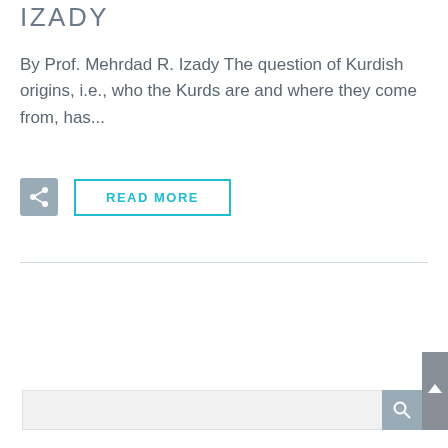IZADY
By Prof. Mehrdad R. Izady The question of Kurdish origins, i.e., who the Kurds are and where they come from, has...
[Figure (other): Share button (gray square with share icon) and READ MORE button (outlined in teal)]
READ MORE
[Figure (other): Search bar with gray background and search icon button on the right, with a scroll-to-top arrow overlay in the corner]